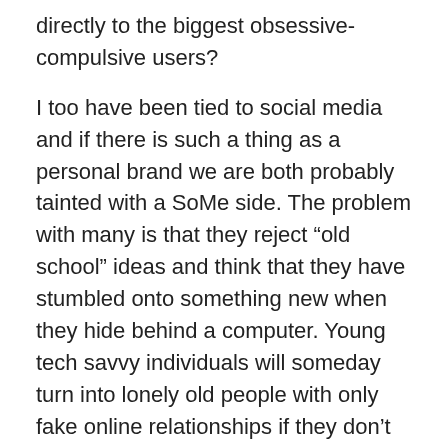directly to the biggest obsessive-compulsive users?
I too have been tied to social media and if there is such a thing as a personal brand we are both probably tainted with a SoMe side. The problem with many is that they reject “old school” ideas and think that they have stumbled onto something new when they hide behind a computer. Young tech savvy individuals will someday turn into lonely old people with only fake online relationships if they don’t get off their butts and have eyeball-to-eyeball contact with people.
My mantra is to make somebody talk and maybe smile every day. I avoid the self check-out line at